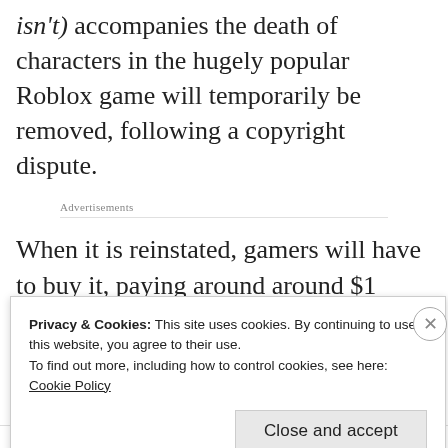isn't) accompanies the death of characters in the hugely popular Roblox game will temporarily be removed, following a copyright dispute.
Advertisements
When it is reinstated, gamers will have to buy it, paying around around $1 (£0.76) or 100 in-
Privacy & Cookies: This site uses cookies. By continuing to use this website, you agree to their use.
To find out more, including how to control cookies, see here: Cookie Policy
Close and accept